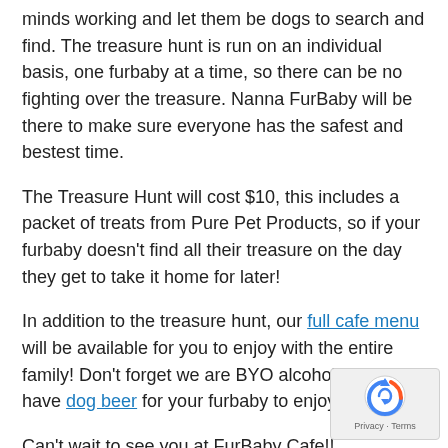minds working and let them be dogs to search and find. The treasure hunt is run on an individual basis, one furbaby at a time, so there can be no fighting over the treasure. Nanna FurBaby will be there to make sure everyone has the safest and bestest time.
The Treasure Hunt will cost $10, this includes a packet of treats from Pure Pet Products, so if your furbaby doesn't find all their treasure on the day they get to take it home for later!
In addition to the treasure hunt, our full cafe menu will be available for you to enjoy with the entire family! Don't forget we are BYO alcohol and we have dog beer for your furbaby to enjoy too!
Can't wait to see you at FurBaby Cafe!!
HOW IT WORKS...